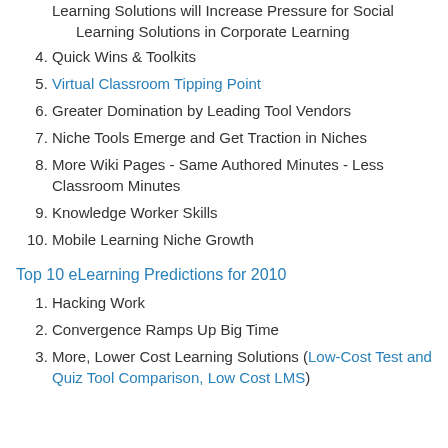Learning Solutions will Increase Pressure for Social Learning Solutions in Corporate Learning
4. Quick Wins & Toolkits
5. Virtual Classroom Tipping Point
6. Greater Domination by Leading Tool Vendors
7. Niche Tools Emerge and Get Traction in Niches
8. More Wiki Pages - Same Authored Minutes - Less Classroom Minutes
9. Knowledge Worker Skills
10. Mobile Learning Niche Growth
Top 10 eLearning Predictions for 2010
1. Hacking Work
2. Convergence Ramps Up Big Time
3. More, Lower Cost Learning Solutions (Low-Cost Test and Quiz Tool Comparison, Low Cost LMS)